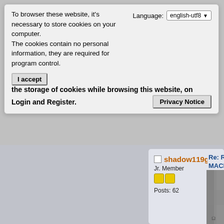To browser these website, it's necessary to store cookies on your computer.
The cookies contain no personal information, they are required for program control.
Language: english-utf8
I accept the storage of cookies while browsing this website, on Login and Register.
Privacy Notice
shadow119g
Jr. Member
Posts: 62
Re: Re-Inventing MACHINE
« Reply #482 on: Janua
This is my last try to
Sorry
[Figure (photo): A grey textured surface photograph, partially visible on the right side of the page]